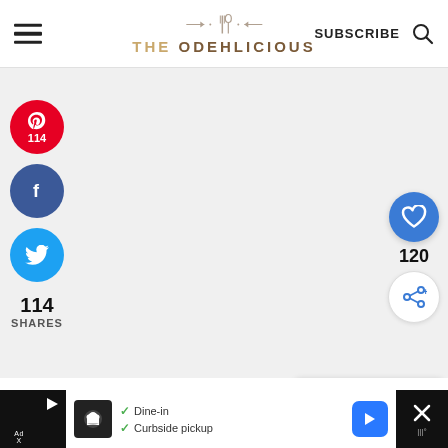THE ODEHLICIOUS — SUBSCRIBE
[Figure (screenshot): Social share sidebar with Pinterest (114), Facebook, Twitter buttons; heart count 120; share button; What's Next panel for Beef Bamia Recipe (Okr...)]
114 SHARES
Note: If your oven does not have a
[Figure (infographic): Advertisement bar at bottom: Dine-in, Curbside pickup options]